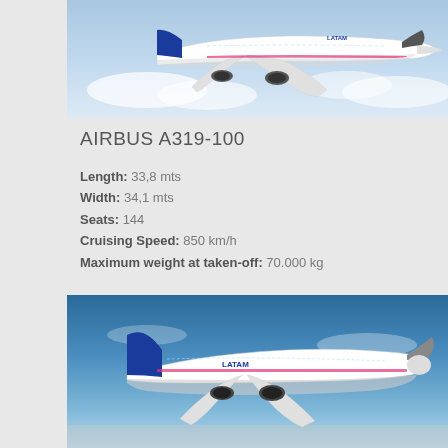[Figure (photo): LATAM Airlines Airbus A319-100 aircraft in flight against a partly cloudy sky, viewed from the side/above]
AIRBUS A319-100
Length: 33,8 mts
Width: 34,1 mts
Seats: 144
Cruising Speed: 850 km/h
Maximum weight at taken-off: 70.000 kg
[Figure (photo): LATAM Airlines Airbus aircraft on the ground or taxiing, viewed from the front-left side with blue sky background]